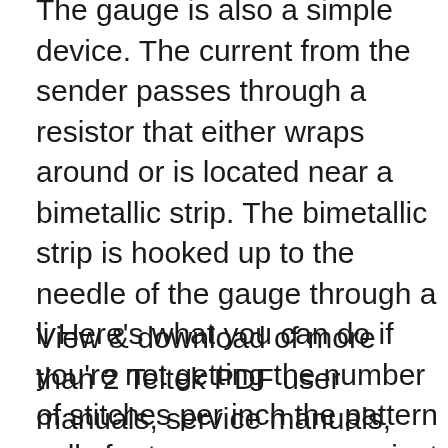The gauge is also a simple device. The current from the sender passes through a resistor that either wraps around or is located near a bimetallic strip. The bimetallic strip is hooked up to the needle of the gauge through a li Here's what you can do if you're not getting the number of stitches per inch the pattern calls for to ensure your project will be the right size. Sarah E. White We all know that we're supposed to knit gauge swatches and do whatever we have Results 1 - 48 of 164 Digital air pressure gauge for trucks and cars | Teltek gauges | Digital air gauge- .
View & download of more than 2 Teltek PDF user manuals, service manuals, operating guides. Lediga jobb oslo flygplats